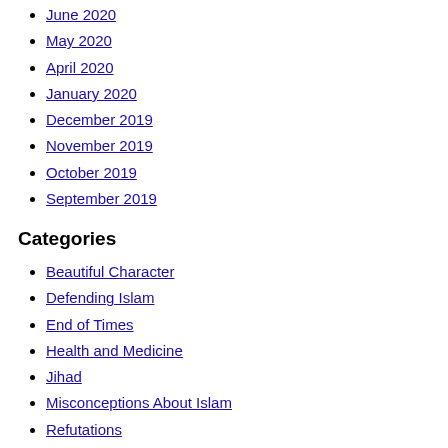June 2020
May 2020
April 2020
January 2020
December 2019
November 2019
October 2019
September 2019
Categories
Beautiful Character
Defending Islam
End of Times
Health and Medicine
Jihad
Misconceptions About Islam
Refutations
The Wrath of Allah
Uncategorized
Meta
Log in